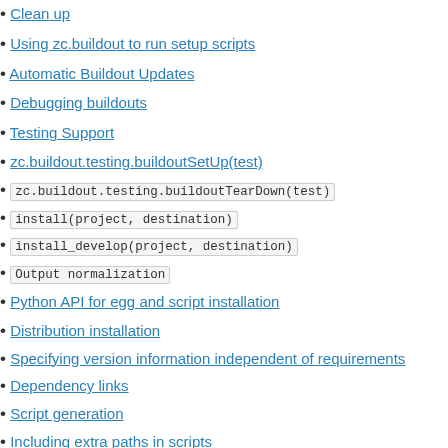Clean up
Using zc.buildout to run setup scripts
Automatic Buildout Updates
Debugging buildouts
Testing Support
zc.buildout.testing.buildoutSetUp(test)
zc.buildout.testing.buildoutTearDown(test)
install(project, destination)
install_develop(project, destination)
Output normalization
Python API for egg and script installation
Distribution installation
Specifying version information independent of requirements
Dependency links
Script generation
Including extra paths in scripts